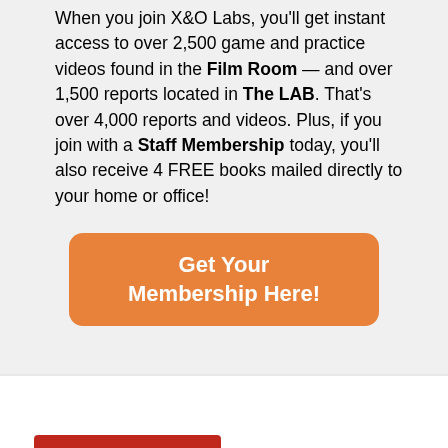When you join X&O Labs, you'll get instant access to over 2,500 game and practice videos found in the Film Room — and over 1,500 reports located in The LAB. That's over 4,000 reports and videos. Plus, if you join with a Staff Membership today, you'll also receive 4 FREE books mailed directly to your home or office!
[Figure (other): Orange rounded rectangle button with white bold text reading 'Get Your Membership Here!']
[Figure (other): Red rectangle button with white bold uppercase text reading 'READ MORE']